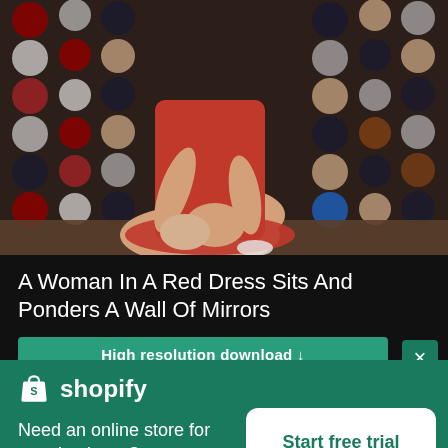[Figure (photo): A woman in a red dress sitting cross-legged on the floor in front of a wall covered with round mirrors of various colors (red, white, blue, beige). She is adjusting her shoe. The photo is cropped to show from the neck down.]
A Woman In A Red Dress Sits And Ponders A Wall Of Mirrors
High resolution download ↓
[Figure (logo): Shopify logo — white shopping bag icon with a stylized 'S' followed by the word 'shopify' in white text on a teal/green background]
Need an online store for your business?
Start free trial